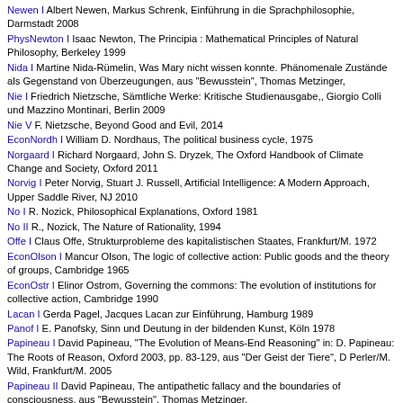Newen I Albert Newen, Markus Schrenk, Einführung in die Sprachphilosophie, Darmstadt 2008
PhysNewton I Isaac Newton, The Principia : Mathematical Principles of Natural Philosophy, Berkeley 1999
Nida I Martine Nida-Rümelin, Was Mary nicht wissen konnte. Phänomenale Zustände als Gegenstand von Überzeugungen, aus "Bewusstein", Thomas Metzinger,
Nie I Friedrich Nietzsche, Sämtliche Werke: Kritische Studienausgabe,, Giorgio Colli und Mazzino Montinari, Berlin 2009
Nie V F. Nietzsche, Beyond Good and Evil, 2014
EconNordh I William D. Nordhaus, The political business cycle, 1975
Norgaard I Richard Norgaard, John S. Dryzek, The Oxford Handbook of Climate Change and Society, Oxford 2011
Norvig I Peter Norvig, Stuart J. Russell, Artificial Intelligence: A Modern Approach, Upper Saddle River, NJ 2010
No I R. Nozick, Philosophical Explanations, Oxford 1981
No II R., Nozick, The Nature of Rationality, 1994
Offe I Claus Offe, Strukturprobleme des kapitalistischen Staates, Frankfurt/M. 1972
EconOlson I Mancur Olson, The logic of collective action: Public goods and the theory of groups, Cambridge 1965
EconOstr I Elinor Ostrom, Governing the commons: The evolution of institutions for collective action, Cambridge 1990
Lacan I Gerda Pagel, Jacques Lacan zur Einführung, Hamburg 1989
Panof I E. Panofsky, Sinn und Deutung in der bildenden Kunst, Köln 1978
Papineau I David Papineau, "The Evolution of Means-End Reasoning" in: D. Papineau: The Roots of Reason, Oxford 2003, pp. 83-129, aus "Der Geist der Tiere", D Perler/M. Wild, Frankfurt/M. 2005
Papineau II David Papineau, The antipathetic fallacy and the boundaries of consciousness, aus "Bewusstein", Thomas Metzinger, Paderborn/München/Wien/Zürich 1996
Papineau III D. Papineau, Thinking about Consciousness, Oxford 2004